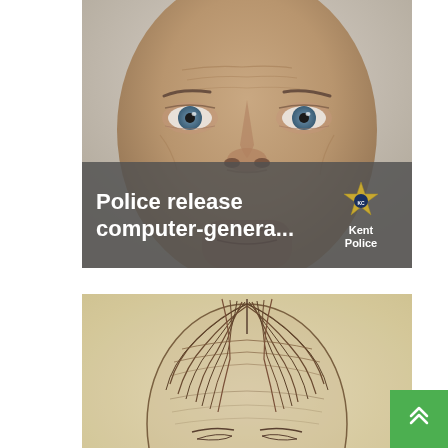[Figure (photo): Close-up photograph of a bald middle-aged man's face (computer-generated), showing eyes, nose, and chin area against a light gray background. The image is cropped to show only the central facial features.]
Police release computer-genera...
[Figure (illustration): Pencil/charcoal sketch portrait of a person with shoulder-length straight hair parted in the middle, showing forehead and upper facial area. Drawn on aged yellowish paper in a rough forensic sketch style.]